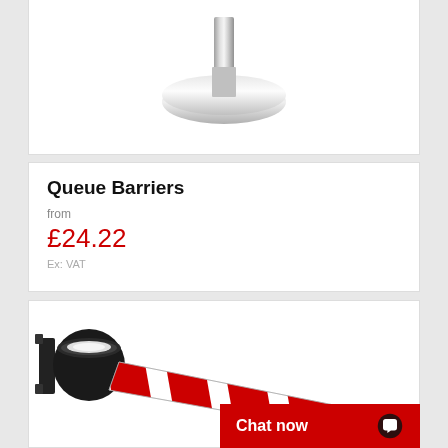[Figure (photo): Partial product image of a chrome queue barrier post base (bottom portion visible), shown on white background.]
Queue Barriers
from
£24.22
Ex: VAT
[Figure (photo): Wall-mounted retractable barrier with black housing unit on the left, and a red and white diagonal striped retractable belt extending diagonally to the lower right.]
Chat now